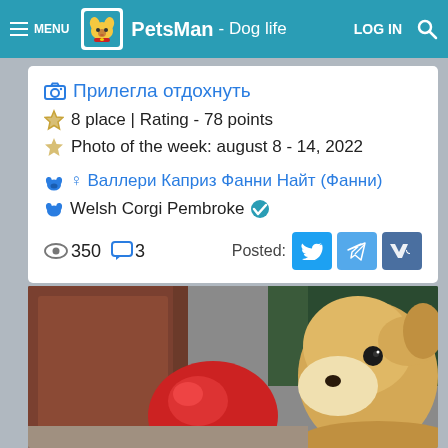MENU | PetsMan - Dog life | LOG IN
Прилегла отдохнуть
8 place | Rating - 78 points
Photo of the week: august 8 - 14, 2022
♀ Валлери Каприз Фанни Найт (Фанни)
Welsh Corgi Pembroke ✔
👁 350  💬 3   Posted:
[Figure (screenshot): Close-up photo of a Welsh Corgi dog's face looking at a red object, with brown wooden furniture and green background visible]